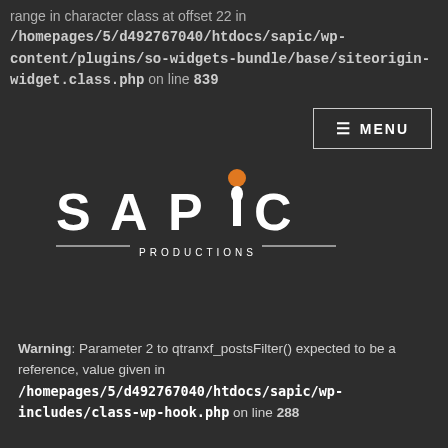range in character class at offset 22 in /homepages/5/d492767040/htdocs/sapic/wp-content/plugins/so-widgets-bundle/base/siteorigin-widget.class.php on line 839
[Figure (logo): SAPIC Productions logo — white stylized letters S A P I C with a figure on top of the I letter and an orange decorative element, with PRODUCTIONS text below and horizontal lines flanking it, on dark background]
Warning: Parameter 2 to qtranxf_postsFilter() expected to be a reference, value given in /homepages/5/d492767040/htdocs/sapic/wp-includes/class-wp-hook.php on line 288